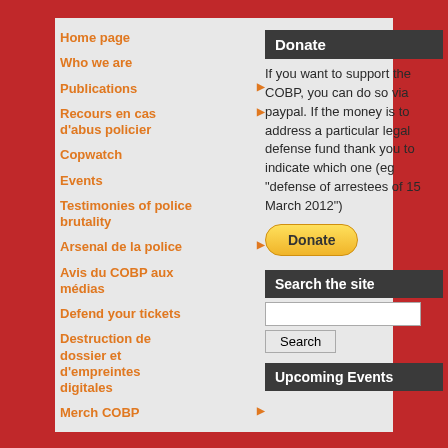Home page
Who we are
Publications ▶
Recours en cas d'abus policier ▶
Copwatch
Events
Testimonies of police brutality
Arsenal de la police ▶
Avis du COBP aux médias
Defend your tickets
Destruction de dossier et d'empreintes digitales
Merch COBP ▶
Donate
If you want to support the COBP, you can do so via paypal. If the money is to address a particular legal defense fund thank you to indicate which one (eg "defense of arrestees of 15 March 2012")
Search the site
Upcoming Events